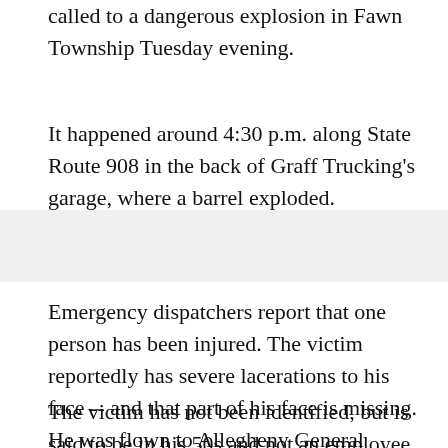called to a dangerous explosion in Fawn Township Tuesday evening.
It happened around 4:30 p.m. along State Route 908 in the back of Graff Trucking's garage, where a barrel exploded.
Emergency dispatchers report that one person has been injured. The victim reportedly has severe lacerations to his face -- and that part of his face is missing. He was flown to Allegheny General Hospital.
The victim has not been identified, but is said to be in his 50s and not an employee.